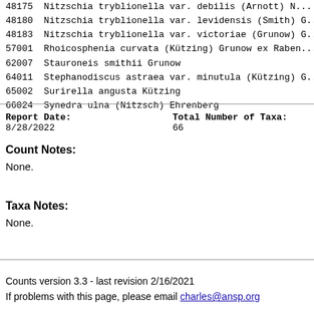48175 Nitzschia tryblionella var. debilis (Arnott) N...
48180 Nitzschia tryblionella var. levidensis (Smith) G...
48183 Nitzschia tryblionella var. victoriae (Grunow) G...
57001 Rhoicosphenia curvata (Kützing) Grunow ex Raben...
62007 Stauroneis smithii Grunow
64011 Stephanodiscus astraea var. minutula (Kützing) G...
65002 Surirella angusta Kützing
66024 Synedra ulna (Nitzsch) Ehrenberg
Report Date: 8/28/2022    Total Number of Taxa: 66
Count Notes:
None.
Taxa Notes:
None.
Counts version 3.3 - last revision 2/16/2021
If problems with this page, please email charles@ansp.org